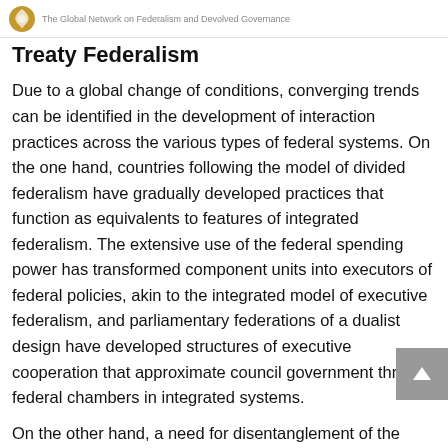The Global Network on Federalism and Devolved Governance
Treaty Federalism
Due to a global change of conditions, converging trends can be identified in the development of interaction practices across the various types of federal systems. On the one hand, countries following the model of divided federalism have gradually developed practices that function as equivalents to features of integrated federalism. The extensive use of the federal spending power has transformed component units into executors of federal policies, akin to the integrated model of executive federalism, and parliamentary federations of a dualist design have developed structures of executive cooperation that approximate council government through federal chambers in integrated systems.
On the other hand, a need for disentanglement of the federal and federated governments is increasingly